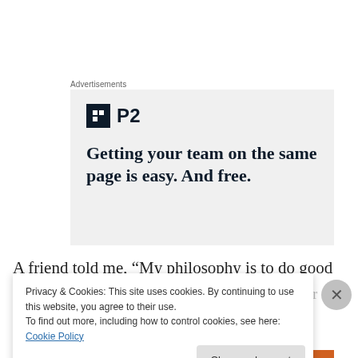Advertisements
[Figure (illustration): Advertisement for P2 product showing logo and headline 'Getting your team on the same page is easy. And free.']
A friend told me, “My philosophy is to do good to people”. I replied, “That’s great, but what about your…
Privacy & Cookies: This site uses cookies. By continuing to use this website, you agree to their use. To find out more, including how to control cookies, see here: Cookie Policy
Close and accept